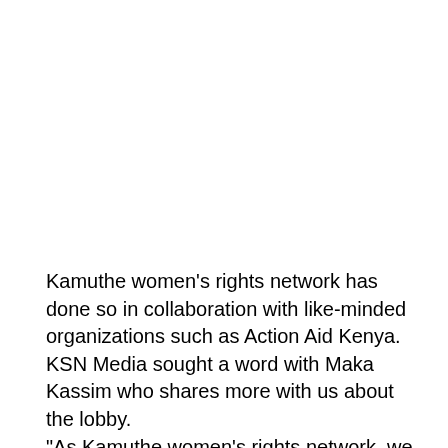Kamuthe women's rights network has done so in collaboration with like-minded organizations such as Action Aid Kenya. KSN Media sought a word with Maka Kassim who shares more with us about the lobby. “As Kamuthe women's rights network, we are working closely with action aid Kenya to fight FGM and early marriages which has been a norm among the Somali community. FGM is prohibited in Islam but since time immemorial it has been going in unabated. We are